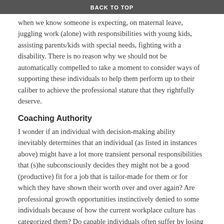BACK TO TOP
when we know someone is expecting, on maternal leave, juggling work (alone) with responsibilities with young kids, assisting parents/kids with special needs, fighting with a disability. There is no reason why we should not be automatically compelled to take a moment to consider ways of supporting these individuals to help them perform up to their caliber to achieve the professional stature that they rightfully deserve.
Coaching Authority
I wonder if an individual with decision-making ability inevitably determines that an individual (as listed in instances above) might have a lot more transient personal responsibilities that (s)he subconsciously decides they might not be a good (productive) fit for a job that is tailor-made for them or for which they have shown their worth over and over again? Are professional growth opportunities instinctively denied to some individuals because of how the current workplace culture has categorized them? Do capable individuals often suffer by losing growth opportunities due to a lack of effective policies to empower employees? Does a